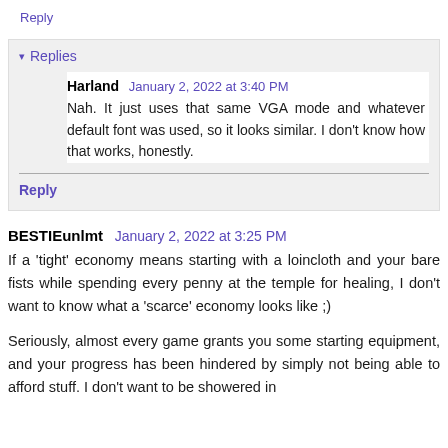Reply
▾ Replies
Harland  January 2, 2022 at 3:40 PM
Nah. It just uses that same VGA mode and whatever default font was used, so it looks similar. I don't know how that works, honestly.
Reply
BESTIEunlmt  January 2, 2022 at 3:25 PM
If a 'tight' economy means starting with a loincloth and your bare fists while spending every penny at the temple for healing, I don't want to know what a 'scarce' economy looks like ;)
Seriously, almost every game grants you some starting equipment, and your progress has been hindered by simply not being able to afford stuff. I don't want to be showered in